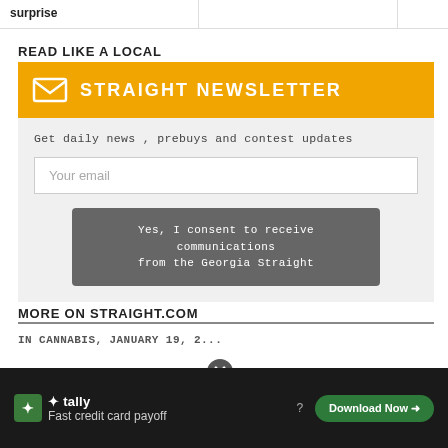surprise
READ LIKE A LOCAL
[Figure (infographic): Straight Newsletter signup box with orange header, envelope icon, email input field, and consent button]
MORE ON STRAIGHT.COM
IN CANNABIS, JANUARY 19, 2...
[Figure (infographic): Tally advertisement: Fast credit card payoff, Download Now button, dark background]